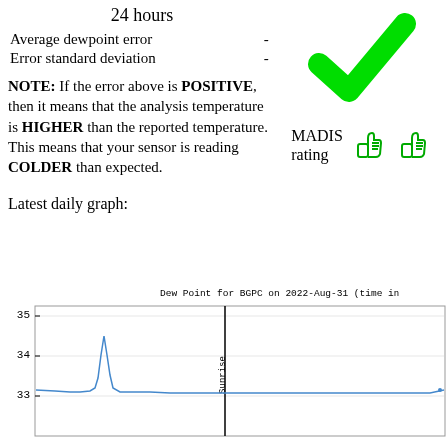|  | 24 hours |
| --- | --- |
| Average dewpoint error | - |
| Error standard deviation | - |
[Figure (illustration): Large green checkmark icon]
NOTE: If the error above is POSITIVE, then it means that the analysis temperature is HIGHER than the reported temperature. This means that your sensor is reading COLDER than expected.
[Figure (illustration): MADIS rating with two green thumbs up icons]
Latest daily graph:
[Figure (continuous-plot): Dew Point for BGPC on 2022-Aug-31 (time in ...). Line chart showing dew point values around 33-35 degrees with a sharp spike near 34.5 and a Sunrise vertical line marker. Y-axis shows values 33, 34, 35.]